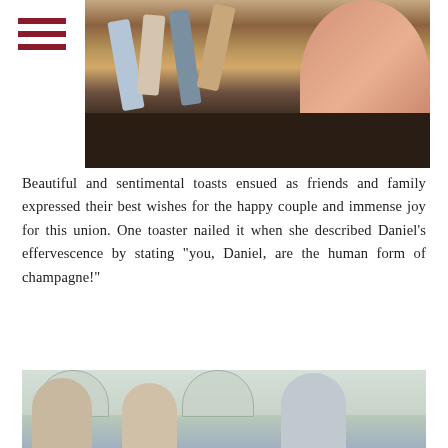[Figure (photo): Overhead/ground-level photo of people dancing at a wedding reception, showing legs and feet on a dark wood floor, with a colorful salmon/peach ballgown skirt visible on the right side.]
Beautiful and sentimental toasts ensued as friends and family expressed their best wishes for the happy couple and immense joy for this union. One toaster nailed it when she described Daniel’s effervescence by stating “you, Daniel, are the human form of champagne!”
[Figure (photo): Photo of people at a wedding toast/reception in an ornate ballroom with chandeliers and arched mirrors. A woman holds a microphone on the right, and people are laughing and celebrating.]